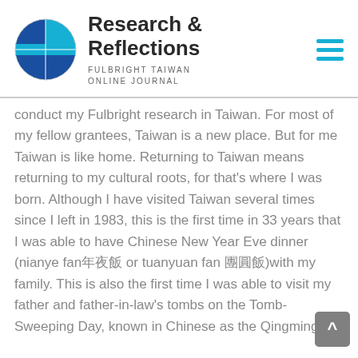[Figure (logo): Fulbright Taiwan globe logo in blue and cyan tones]
Research & Reflections
FULBRIGHT TAIWAN ONLINE JOURNAL
conduct my Fulbright research in Taiwan. For most of my fellow grantees, Taiwan is a new place. But for me Taiwan is like home. Returning to Taiwan means returning to my cultural roots, for that's where I was born. Although I have visited Taiwan several times since I left in 1983, this is the first time in 33 years that I was able to have Chinese New Year Eve dinner (nianye fan年夜飯 or  tuanyuan fan 團圓飯)with my family. This is also the first time I was able to visit my father and father-in-law's tombs on the Tomb-Sweeping Day, known in Chinese as the Qingming 清明 Festival. Recently, I attended a high school reunion for the very first time since graduating 40 years ago. Reconnecting with so many classmates and learning about their career paths, I realize all that I missed during Taiwan's economic heyday of the 1980s and 1990s. Taiwan was then one of